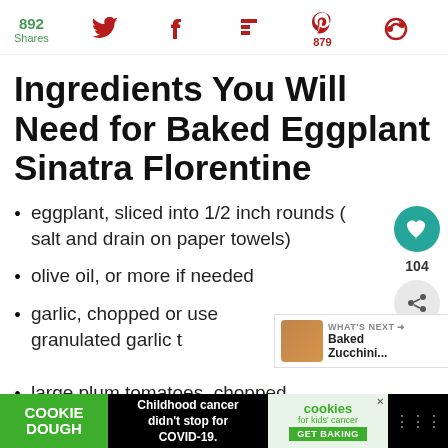892 Shares
Ingredients You Will Need for Baked Eggplant Sinatra Florentine
eggplant, sliced into 1/2 inch rounds ( salt and drain on paper towels)
olive oil, or more if needed
garlic, chopped or use granulated garlic t...
large plum tomatoes, chopped
[Figure (other): Ad banner: Cookie Dough - Childhood cancer didn't stop for COVID-19. Cookies for kids cancer GET BAKING.]